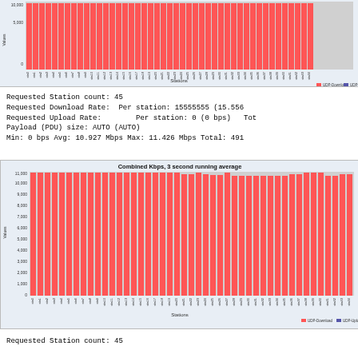[Figure (bar-chart): Bar chart showing UDP-Download and UDP-Upload per station, 45 stations, values around 10000, partial view at top of page]
Requested Station count: 45
Requested Download Rate:  Per station: 15555555 (15.556
Requested Upload Rate:        Per station: 0 (0 bps)   Tot
Payload (PDU) size: AUTO (AUTO)
Min: 0 bps Avg: 10.927 Mbps Max: 11.426 Mbps Total: 491
[Figure (bar-chart): Bar chart showing UDP-Download per station (45 stations), values around 10000-11000 Kbps, y-axis 0 to 11000]
Requested Station count: 45